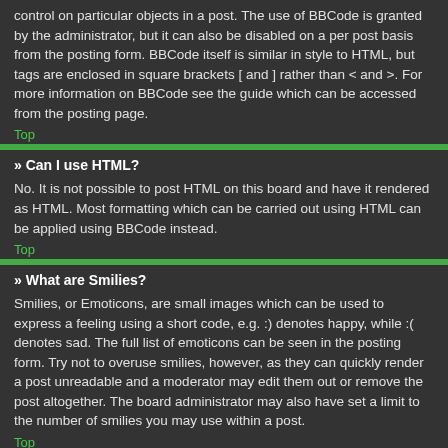control on particular objects in a post. The use of BBCode is granted by the administrator, but it can also be disabled on a per post basis from the posting form. BBCode itself is similar in style to HTML, but tags are enclosed in square brackets [ and ] rather than < and >. For more information on BBCode see the guide which can be accessed from the posting page.
Top
» Can I use HTML?
No. It is not possible to post HTML on this board and have it rendered as HTML. Most formatting which can be carried out using HTML can be applied using BBCode instead.
Top
» What are Smilies?
Smilies, or Emoticons, are small images which can be used to express a feeling using a short code, e.g. :) denotes happy, while :( denotes sad. The full list of emoticons can be seen in the posting form. Try not to overuse smilies, however, as they can quickly render a post unreadable and a moderator may edit them out or remove the post altogether. The board administrator may also have set a limit to the number of smilies you may use within a post.
Top
» Can I post images?
Yes, images can be shown in your posts. If the administrator has allowed attachments, you may be able to upload the image to the board. Otherwise,